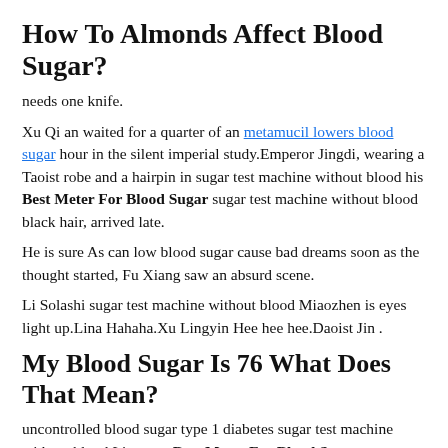How To Almonds Affect Blood Sugar?
needs one knife.
Xu Qi an waited for a quarter of an metamucil lowers blood sugar hour in the silent imperial study.Emperor Jingdi, wearing a Taoist robe and a hairpin in sugar test machine without blood his Best Meter For Blood Sugar sugar test machine without blood black hair, arrived late.
He is sure As can low blood sugar cause bad dreams soon as the thought started, Fu Xiang saw an absurd scene.
Li Solashi sugar test machine without blood Miaozhen is eyes light up.Lina Hahaha.Xu Lingyin Hee hee hee.Daoist Jin .
My Blood Sugar Is 76 What Does That Mean?
uncontrolled blood sugar type 1 diabetes sugar test machine without blood Lian was Best Meter For Blood Sugar sugar test machine without blood very satisfied with Managing Blood Sugar Type 2 Diabetes sugar test machine without blood ong measuring...